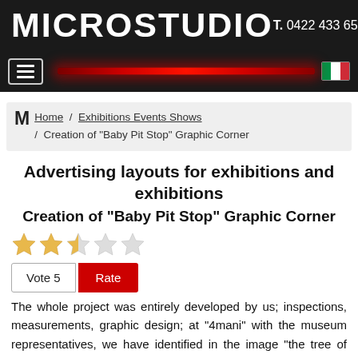MICROSTUDIO  T. 0422 433 657
[Figure (screenshot): Navigation bar with hamburger menu button on left, red glowing bar in center, Italian flag icon on right, all on dark background]
M Home / Exhibitions Events Shows / Creation of "Baby Pit Stop" Graphic Corner
Advertising layouts for exhibitions and exhibitions
Creation of "Baby Pit Stop" Graphic Corner
[Figure (infographic): Star rating: 2.5 out of 5 stars (two filled gold stars, one half star, two empty stars), with Vote 5 and Rate buttons below]
The whole project was entirely developed by us; inspections, measurements, graphic design; at "4mani" with the museum representatives, we have identified in the image "the tree of life", which represents the family, the perfect "scenography" to host, in an inclusive way, the new